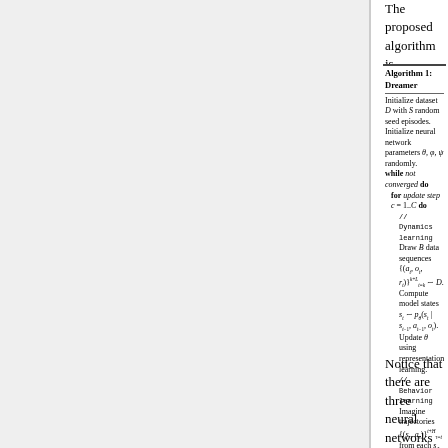The proposed algorithm is described below.
Algorithm 1: Dreamer
Initialize dataset D with S random seed episodes.
Initialize neural network parameters θ, φ, ψ randomly.
while not converged do
  for update step c = 1..C do
    // Dynamics learning
    Draw B data sequences {(a_t, o_t, r_t)}^{k+L}_{t=k} ~ D.
    Compute model states s_t ~ p_θ(s_t | s_{t-1}, a_{t-1}, o_t).
    Update θ using representation learning.
    // Behavior learning
    Imagine trajectories {(s_τ, a_τ)}^{t+H}_{τ=t} from each s_t.
    Predict rewards E(q_θ(r_τ | s_τ)) and values v_ψ(s_τ).
    Compute value estimates V_λ(s_τ) via Equation 6.
    Update φ ← φ + α∇_φ Σ^{t+H}_{τ=t} V_λ(s_τ).
    Update ψ ← ψ - α∇_ψ Σ^{t+H}_{τ=t} ½||v_ψ(s_τ) - V_λ(s_τ)||².
  // Environment interaction
  o_1 ← env.reset()
  for time step t = 1..T do
    Compute s_t ~ p_θ(s_t | s_{t-1}, a_{t-1}, o_t) from history.
    Compute a_t ~ q_φ(a_t | s_t) with the action model.
    Add exploration noise to action.
    r_t, o_{t+1} ← env.step(a_t).
  Add experience to dataset D ← D ∪ {(o_t, a_t, r_t)^T_{t=1}}.
Notice that there are three neural networks that are trained simultaneously. The neural networks with parameters